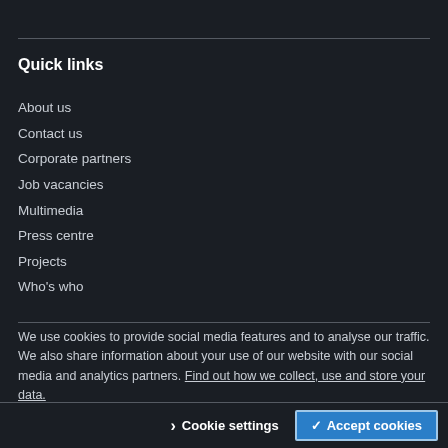Quick links
About us
Contact us
Corporate partners
Job vacancies
Multimedia
Press centre
Projects
Who's who
We use cookies to provide social media features and to analyse our traffic. We also share information about your use of our website with our social media and analytics partners. Find out how we collect, use and store your data.
© The King's Fund 2022   Registered charity: 1126980
Cookie settings
✓ Accept cookies